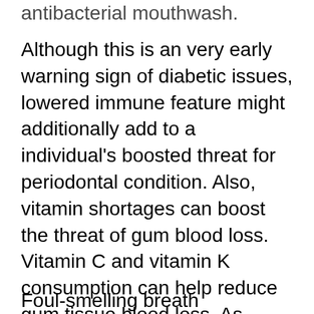antibacterial mouthwash.
Although this is an very early warning sign of diabetic issues, lowered immune feature might additionally add to a individual's boosted threat for periodontal condition. Also, vitamin shortages can boost the threat of gum blood loss. Vitamin C and vitamin K consumption can help reduce gum tissue blood loss. As mentioned over, a healthy diet plan can assist prevent the beginning of hemorrhaging periodontals. The main goal is to obtain your teeth to look their finest as well as really feel excellent. The bleeding gum tissues caused by gingivitis may be the early indication of diabetic issues.
Foul-smelling breath